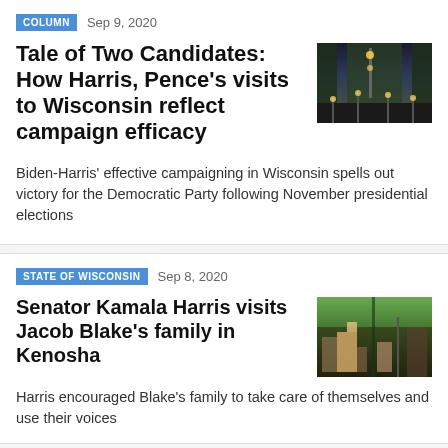COLUMN  Sep 9, 2020
Tale of Two Candidates: How Harris, Pence's visits to Wisconsin reflect campaign efficacy
[Figure (photo): Street scene at dusk with trees and lights lining a walkway]
Biden-Harris' effective campaigning in Wisconsin spells out victory for the Democratic Party following November presidential elections
STATE OF WISCONSIN  Sep 8, 2020
Senator Kamala Harris visits Jacob Blake's family in Kenosha
[Figure (photo): Protesters holding signs outdoors near trees]
Harris encouraged Blake's family to take care of themselves and use their voices